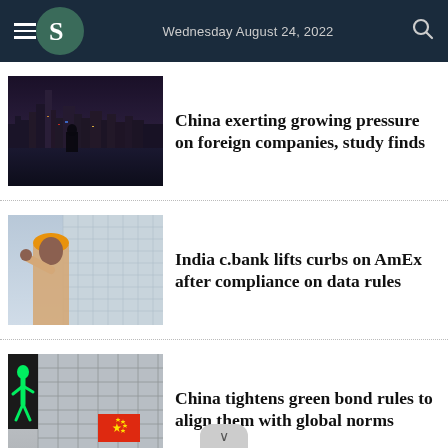Wednesday August 24, 2022
[Figure (photo): Night cityscape of Shanghai with illuminated skyscrapers reflected in water]
China exerting growing pressure on foreign companies, study finds
[Figure (photo): Construction worker in orange hard hat in front of a glass office building]
India c.bank lifts curbs on AmEx after compliance on data rules
[Figure (photo): Chinese flag on a building facade with a green pedestrian traffic light signal]
China tightens green bond rules to align them with global norms